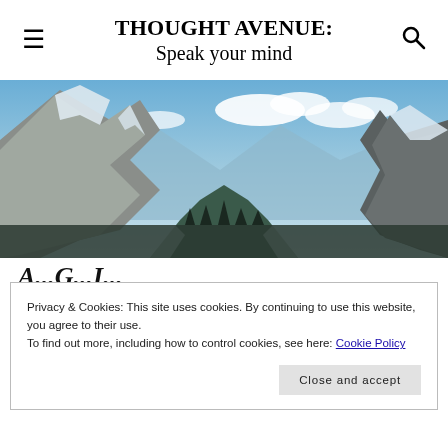THOUGHT AVENUE: Speak your mind
[Figure (photo): Panoramic mountain landscape with snow-capped rocky peaks under a blue sky with white clouds, snow on slopes and valley]
Privacy & Cookies: This site uses cookies. By continuing to use this website, you agree to their use.
To find out more, including how to control cookies, see here: Cookie Policy
Close and accept